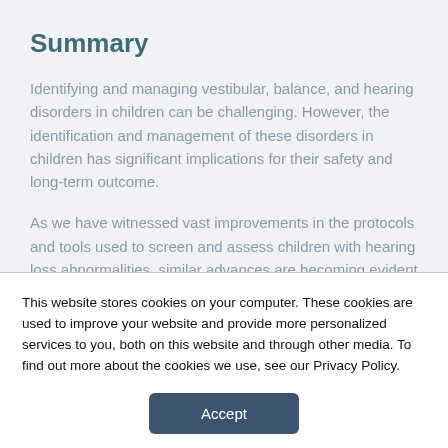Summary
Identifying and managing vestibular, balance, and hearing disorders in children can be challenging. However, the identification and management of these disorders in children has significant implications for their safety and long-term outcome.
As we have witnessed vast improvements in the protocols and tools used to screen and assess children with hearing loss abnormalities, similar advances are becoming evident with regard to
This website stores cookies on your computer. These cookies are used to improve your website and provide more personalized services to you, both on this website and through other media. To find out more about the cookies we use, see our Privacy Policy.
Accept